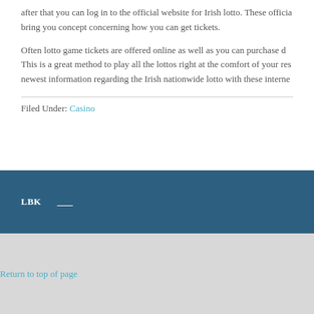after that you can log in to the official website for Irish lotto. These official bring you concept concerning how you can get tickets.
Often lotto game tickets are offered online as well as you can purchase d... This is a great method to play all the lottos right at the comfort of your res... newest information regarding the Irish nationwide lotto with these interne...
Filed Under: Casino
LBK
Return to top of page